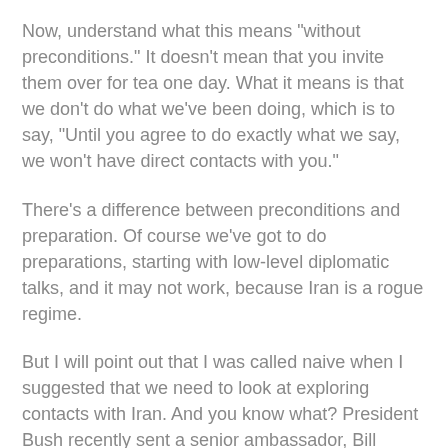Now, understand what this means "without preconditions." It doesn't mean that you invite them over for tea one day. What it means is that we don't do what we've been doing, which is to say, "Until you agree to do exactly what we say, we won't have direct contacts with you."
There's a difference between preconditions and preparation. Of course we've got to do preparations, starting with low-level diplomatic talks, and it may not work, because Iran is a rogue regime.
But I will point out that I was called naive when I suggested that we need to look at exploring contacts with Iran. And you know what? President Bush recently sent a senior ambassador, Bill Burns, to participate in talks with the Europeans around the issue of nuclear weapons.
Again, it may not work, but if it doesn't work, then